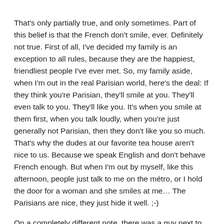That's only partially true, and only sometimes. Part of this belief is that the French don't smile, ever. Definitely not true. First of all, I've decided my family is an exception to all rules, because they are the happiest, friendliest people I've ever met. So, my family aside, when I'm out in the real Parisian world, here's the deal: If they think you're Parisian, they'll smile at you. They'll even talk to you. They'll like you. It's when you smile at them first, when you talk loudly, when you're just generally not Parisian, then they don't like you so much. That's why the dudes at our favorite tea house aren't nice to us. Because we speak English and don't behave French enough. But when I'm out by myself, like this afternoon, people just talk to me on the métro, or I hold the door for a woman and she smiles at me… The Parisians are nice, they just hide it well. ;-)
On a completely different note, there was a guy next to me